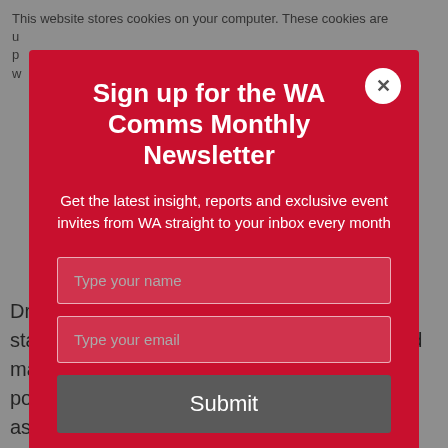This website stores cookies on your computer. These cookies are u... p... w...
Sign up for the WA Comms Monthly Newsletter
Get the latest insight, reports and exclusive event invites from WA straight to your inbox every month
Type your name
Type your email
Submit
Dr Coscelli's response stated that the CMA's statutory functions covered merger control and market studies/investigations, and that its powers of intervention on the basis that an asset is highly